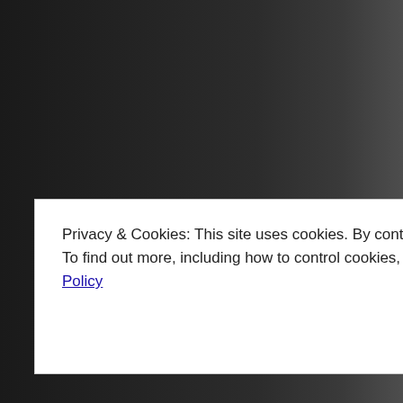coming of Buddha diatribe he reache his ass a cheque F saying that he wa in our fair commu gives a dam abou nobody is listenin nobody can recall came from. Every how they can get

That's how stupid not so much corru human nature slic

The problem that First, nobody wan been conned. If th s e nob m
Privacy & Cookies: This site uses cookies. By continuing to use this website, you agree to their use.
To find out more, including how to control cookies, see here: Cookie Policy